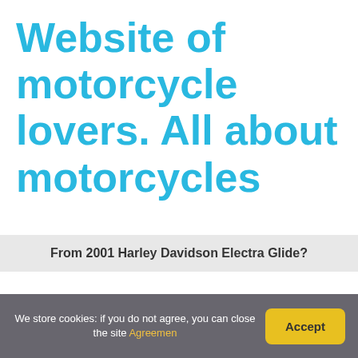Website of motorcycle lovers. All about motorcycles
From 2001 Harley Davidson Electra Glide?
Leave a Reply
We store cookies: if you do not agree, you can close the site Agreement